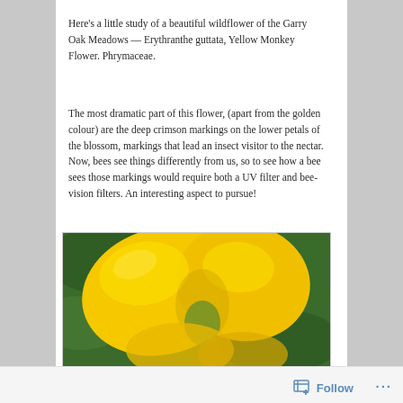Here's a little study of a beautiful wildflower of the Garry Oak Meadows — Erythranthe guttata, Yellow Monkey Flower. Phrymaceae.
The most dramatic part of this flower, (apart from the golden colour) are the deep crimson markings on the lower petals of the blossom, markings that lead an insect visitor to the nectar. Now, bees see things differently from us, so to see how a bee sees those markings would require both a UV filter and bee-vision filters. An interesting aspect to pursue!
[Figure (photo): Close-up macro photograph of a yellow Monkey Flower (Erythranthe guttata) bloom against a green background. The flower shows large bright yellow petals filling the frame.]
Follow ···